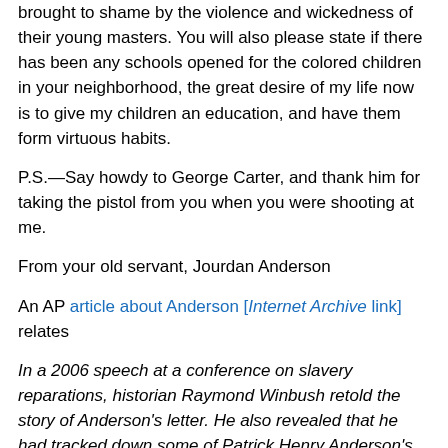brought to shame by the violence and wickedness of their young masters. You will also please state if there has been any schools opened for the colored children in your neighborhood, the great desire of my life now is to give my children an education, and have them form virtuous habits.
P.S.—Say howdy to George Carter, and thank him for taking the pistol from you when you were shooting at me.
From your old servant, Jourdan Anderson
An AP article about Anderson [Internet Archive link] relates
In a 2006 speech at a conference on slavery reparations, historian Raymond Winbush retold the story of Anderson's letter. He also revealed that he had tracked down some of Patrick Henry Anderson's descendants, still living in Big Spring.